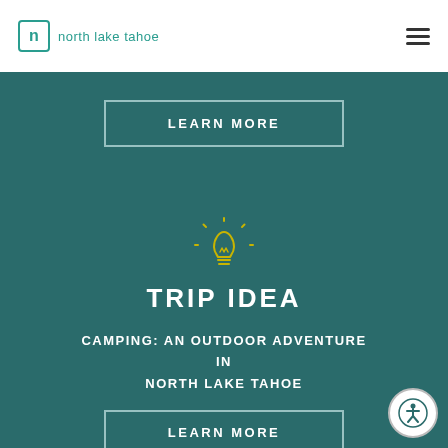north lake tahoe
LEARN MORE
TRIP IDEA
CAMPING: AN OUTDOOR ADVENTURE IN NORTH LAKE TAHOE
LEARN MORE